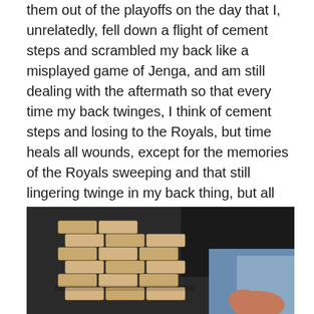them out of the playoffs on the day that I, unrelatedly, fell down a flight of cement steps and scrambled my back like a misplayed game of Jenga, and am still dealing with the aftermath so that every time my back twinges, I think of cement steps and losing to the Royals, but time heals all wounds, except for the memories of the Royals sweeping and that still lingering twinge in my back thing, but all that aside, with the O's win yesterday and the Royals loss, the O's no longer have the worst record in baseball and the Royals now do, and that makes me happy sad, because as I said 150 words ago, I really like you Royals fans.)
[Figure (photo): Close-up photo of a Jenga tower made of wooden blocks, with a hand visible in the lower right portion of the image. Background shows dark mesh and colorful fabric.]